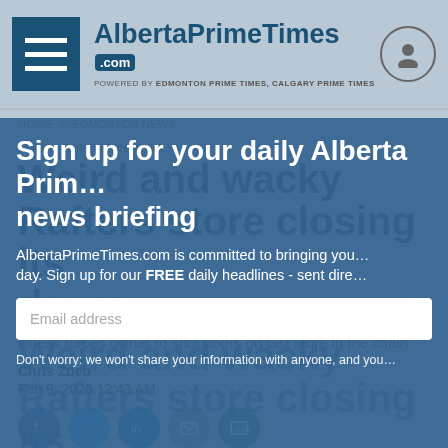[Figure (screenshot): AlbertaPrimeTimes.com website header with hamburger menu icon, logo, and profile icon]
Sign up for your daily Alberta Prim… news briefing
AlbertaPrimeTimes.com is committed to bringing you… day. Sign up for our FREE daily headlines - sent dire…
Email address
Don’t worry: we won’t share your information with anyone, and you…
HOME > EDMONTON NEWS
Weird and wacky Rafters store closing its doors
Illness forces owner to shut doors on last store in the chain
Chris Zdeb
Feb 9, 2020 12:43 AM